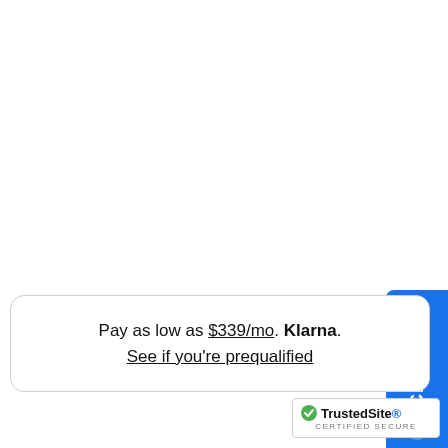[Figure (other): Blue Chat button on the right side of the page, vertical text 'Chat' with a chat icon below it]
Pay as low as $339/mo. Klarna. See if you're prequalified
[Figure (logo): TrustedSite CERTIFIED SECURE badge with green checkmark]